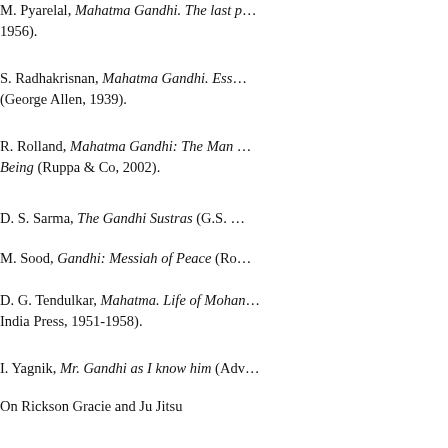M. Pyarelal, Mahatma Gandhi. The last p… 1956).
S. Radhakrisnan, Mahatma Gandhi. Ess… (George Allen, 1939).
R. Rolland, Mahatma Gandhi: The Man … Being (Ruppa & Co, 2002).
D. S. Sarma, The Gandhi Sustras (G.S. …
M. Sood, Gandhi: Messiah of Peace (Ro…
D. G. Tendulkar, Mahatma. Life of Mohan… India Press, 1951-1958).
I. Yagnik, Mr. Gandhi as I know him (Adv…
On Rickson Gracie and Ju Jitsu
J. Danaher, Renzo Gracie, Mastering Jiu…
R. Gracie, R. Gracie, J. Danaher, Brazilia… Techniques (Invisible Cities Press, 2003)
K. Jigoro, Ju Jitsu (Buyu Books & Publis…
J.J. Machado, K. Peligro, Brazilian Jiu Ji…